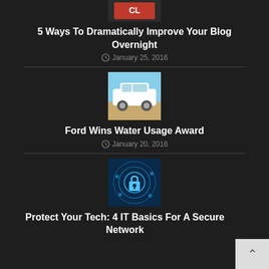[Figure (photo): Partial image at top of page, appears to be a blog-related graphic in red/dark tones]
5 Ways To Dramatically Improve Your Blog Overnight
January 25, 2016
[Figure (photo): White Ford car on a road with blue sky background]
Ford Wins Water Usage Award
January 20, 2016
[Figure (photo): Cybersecurity themed image with padlock icon and blue digital circuit patterns]
Protect Your Tech: 4 IT Basics For A Secure Network